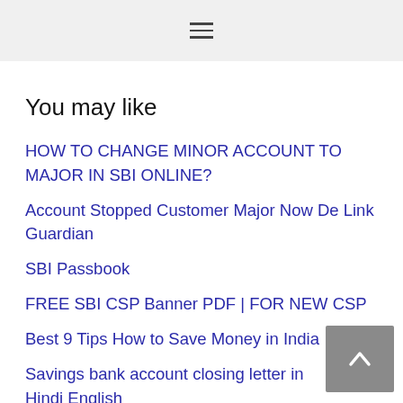≡
You may like
HOW TO CHANGE MINOR ACCOUNT TO MAJOR IN SBI ONLINE?
Account Stopped Customer Major Now De Link Guardian
SBI Passbook
FREE SBI CSP Banner PDF | FOR NEW CSP
Best 9 Tips How to Save Money in India
Savings bank account closing letter in Hindi English